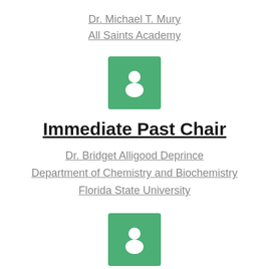Dr. Michael T. Mury
All Saints Academy
[Figure (illustration): Green square icon with white person/user silhouette]
Immediate Past Chair
Dr. Bridget Alligood Deprince
Department of Chemistry and Biochemistry
Florida State University
[Figure (illustration): Green square icon with white person/user silhouette]
Treasurer